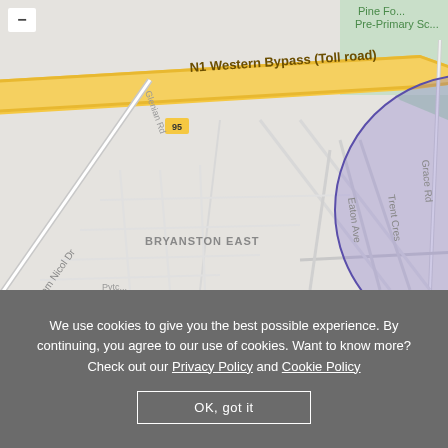[Figure (map): Google Maps screenshot showing Bryanston East area in Johannesburg, South Africa. Shows N1 Western Bypass (Toll road) in yellow at top, with road labels including William Nicol Dr, Sloane St, Grace Rd, Libertas Rd, Culross Rd, Eaton Ave, Trent Cres. Green map pins for Jozi X and Bryanston Pine Forest. A blue-outlined purple semi-transparent circle overlays the center of the map. A school pin labeled 'a House School' is visible bottom-left. Road number badge '95' shown.]
We use cookies to give you the best possible experience. By continuing, you agree to our use of cookies. Want to know more? Check out our Privacy Policy and Cookie Policy
OK, got it